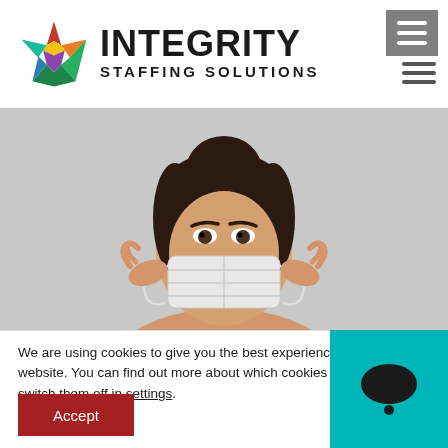[Figure (logo): Integrity Staffing Solutions logo with multicolored star and bold text]
[Figure (photo): Woman with dark hair in a bun holding a surgical face mask up to her face against a gray background]
We are using cookies to give you the best experience on our website. You can find out more about which cookies we are using or switch them off in settings.
[Figure (other): Accept button (dark red) and chat widget (teal) in the cookie consent banner]